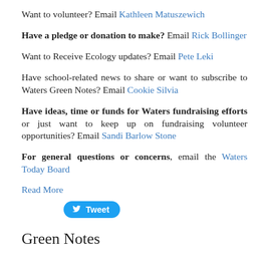Want to volunteer? Email Kathleen Matuszewich
Have a pledge or donation to make? Email Rick Bollinger
Want to Receive Ecology updates? Email Pete Leki
Have school-related news to share or want to subscribe to Waters Green Notes? Email Cookie Silvia
Have ideas, time or funds for Waters fundraising efforts or just want to keep up on fundraising volunteer opportunities? Email Sandi Barlow Stone
For general questions or concerns, email the Waters Today Board
Read More
[Figure (other): Twitter Tweet button]
Green Notes